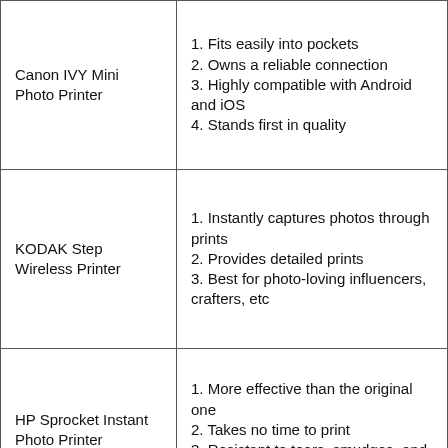| Canon IVY Mini Photo Printer | 1. Fits easily into pockets
2. Owns a reliable connection
3. Highly compatible with Android and iOS
4. Stands first in quality |
| KODAK Step Wireless Printer | 1. Instantly captures photos through prints
2. Provides detailed prints
3. Best for photo-loving influencers, crafters, etc |
| HP Sprocket Instant Photo Printer | 1. More effective than the original one
2. Takes no time to print
3. Resistant to tears, smudges, and water |